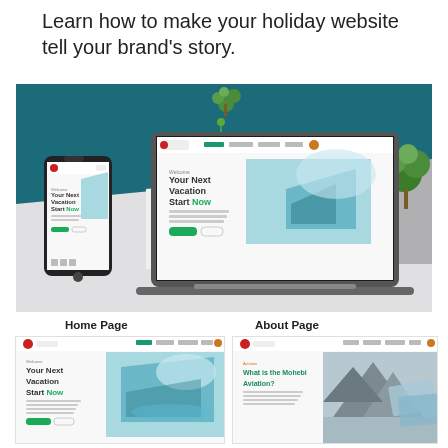Learn how to make your holiday website tell your brand's story.
[Figure (screenshot): Mockup showing a travel website called 'Mohebi' displayed on a laptop and a smartphone. The website shows 'Your Next Vacation Start Now' headline. Teal and white design with tropical imagery. Plants decorate the background.]
[Figure (screenshot): Home Page preview of Mohebi travel website showing 'Your Next Vacation Start Now' with tropical island imagery.]
[Figure (screenshot): About Page preview of Mohebi travel website showing 'What is the Mohebi Aviation?' with mountain imagery.]